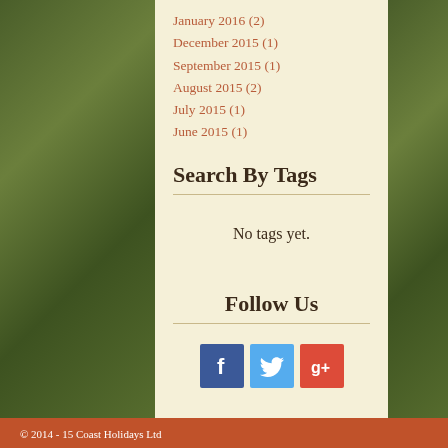January 2016 (2)
December 2015 (1)
September 2015 (1)
August 2015 (2)
July 2015 (1)
June 2015 (1)
Search By Tags
No tags yet.
Follow Us
[Figure (other): Social media icons: Facebook (blue), Twitter (light blue), Google+ (red)]
© 2014 - 15 Coast Holidays Ltd